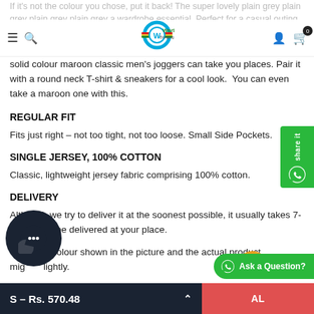If it's not the colour you chose, put it back! The super lovely plain grey plain grey plain grey plain grey a wardrobe essential. Perfect for a casual outing, morning walk, this solid colour maroon classic men's joggers can take you places. Pair it with a round neck T-shirt & sneakers for a cool look. You can even take a maroon one with this.
REGULAR FIT
Fits just right – not too tight, not too loose. Small Side Pockets.
SINGLE JERSEY, 100% COTTON
Classic, lightweight jersey fabric comprising 100% cotton.
DELIVERY
Although we try to deliver it at the soonest possible, it usually takes 7-10 days to be delivered at your place.
* Note: colour shown in the picture and the actual product might slightly.
S – Rs. 570.48   AL